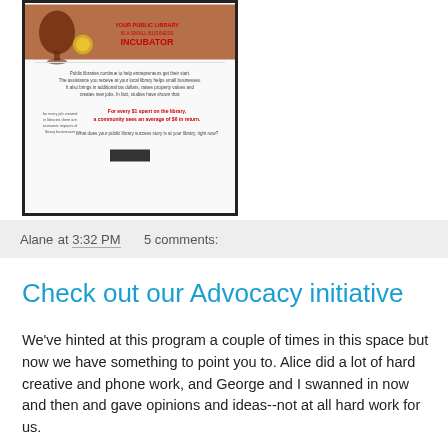[Figure (screenshot): Thumbnail image of a library advocacy flyer showing a wine glass and the text 'YOUR PUBLIC LIBRARY IS A SMALL BUSINESS INCUBATOR' in red, with descriptive text below about libraries helping small businesses.]
Alane at 3:32 PM    5 comments:
Check out our Advocacy initiative
We've hinted at this program a couple of times in this space but now we have something to point you to. Alice did a lot of hard creative and phone work, and George and I swanned in now and then and gave opinions and ideas--not at all hard work for us.
Here's some of what we say on the Advocacy pages: "OCLC has developed an advertising campaign on behalf of libraries, aimed at library budget decision-makers. The 10-13...